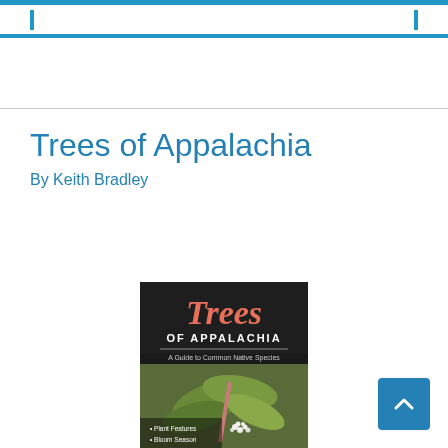Trees of Appalachia
By Keith Bradley
[Figure (photo): Book cover of 'Trees of Appalachia: A Guide to Common Native Species' by Keith Bradley. Dark background with red italic 'Trees' title, white 'OF APPALACHIA' subtitle, a horizontal line, 'A Guide to Common Native Species' tagline, bullet points listing Plant Features, Bloom Season, Color Groups, and a photo of green leaves and white flowers.]